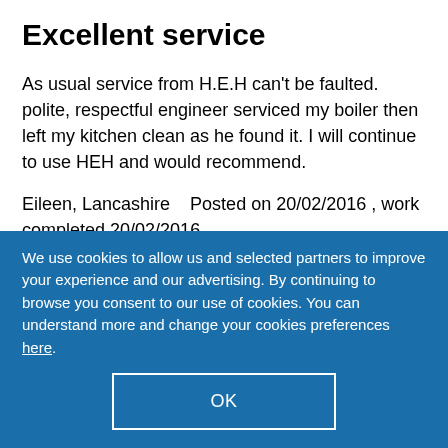Excellent service
As usual service from H.E.H can't be faulted. polite, respectful engineer serviced my boiler then left my kitchen clean as he found it. I will continue to use HEH and would recommend.
Eileen, Lancashire    Posted on 20/02/2016 , work completed 20/02/2016
We use cookies to allow us and selected partners to improve your experience and our advertising. By continuing to browse you consent to our use of cookies. You can understand more and change your cookies preferences here.
OK